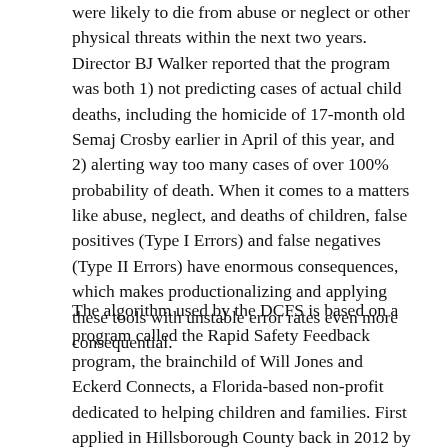were likely to die from abuse or neglect or other physical threats within the next two years. Director BJ Walker reported that the program was both 1) not predicting cases of actual child deaths, including the homicide of 17-month old Semaj Crosby earlier in April of this year, and 2) alerting way too many cases of over 100% probability of death. When it comes to a matters like abuse, neglect, and deaths of children, false positives (Type I Errors) and false negatives (Type II Errors) have enormous consequences, which makes productionalizing and applying these tools with unstable error rates even more consequential.
The algorithm used by the DCFS is based on a program called the Rapid Safety Feedback program, the brainchild of Will Jones and Eckerd Connects, a Florida-based non-profit dedicated to helping children and families. First applied in Hillsborough County back in 2012 by then-